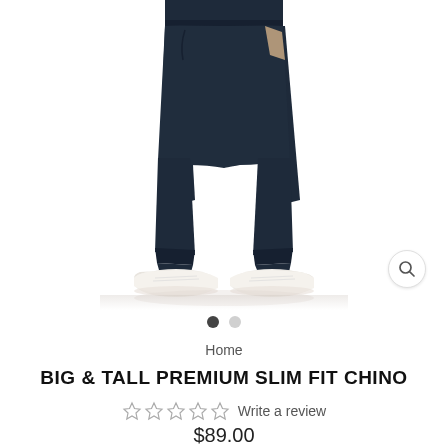[Figure (photo): Man wearing navy slim fit chino pants with white sneakers on a white background. Photo shows from waist down. A magnifier/zoom icon appears in the bottom right of the image.]
Home
BIG & TALL PREMIUM SLIM FIT CHINO
☆ ☆ ☆ ☆ ☆  Write a review
$89.00